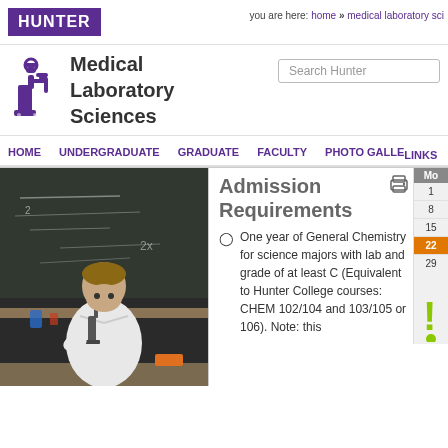HUNTER
you are here: home » medical laboratory sci...
Medical Laboratory Sciences
Search Hunter
HOME   UNDERGRADUATE   GRADUATE   FACULTY   PHOTO GALLE...   LINKS
[Figure (photo): A student or researcher in a white lab coat looking through a microscope in a laboratory with chalkboard in background]
Admission Requirements
One year of General Chemistry for science majors with lab and grade of at least C (Equivalent to Hunter College courses: CHEM 102/104 and 103/105 or 106). Note: this
[Figure (other): Partial calendar sidebar showing dates 1, 8, 15, 22 (highlighted in orange), 29, with header 'Mo']
[Figure (other): Green exclamation mark icon]